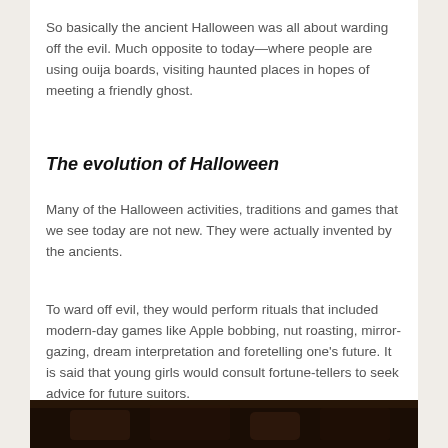So basically the ancient Halloween was all about warding off the evil. Much opposite to today—where people are using ouija boards, visiting haunted places in hopes of meeting a friendly ghost.
The evolution of Halloween
Many of the Halloween activities, traditions and games that we see today are not new. They were actually invented by the ancients.
To ward off evil, they would perform rituals that included modern-day games like Apple bobbing, nut roasting, mirror-gazing, dream interpretation and foretelling one's future. It is said that young girls would consult fortune-tellers to seek advice for future suitors.
[Figure (photo): Dark photo at the bottom of the page, appears to show a dimly lit Halloween-related scene]